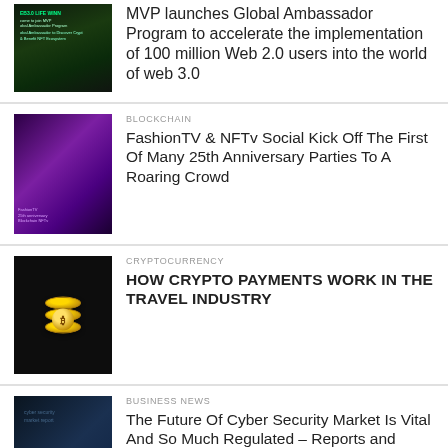[Figure (photo): Dark themed image with green/dark overlay, text about MVP Global Ambassador Program, Web 3.0]
MVP launches Global Ambassador Program to accelerate the implementation of 100 million Web 2.0 users into the world of web 3.0
[Figure (photo): Purple-toned crowd/party event photo for FashionTV NFTv]
BLOCKCHAIN
FashionTV & NFTv Social Kick Off The First Of Many 25th Anniversary Parties To A Roaring Crowd
[Figure (photo): Stack of gold coins on dark background]
CRYPTOCURRENCY
HOW CRYPTO PAYMENTS WORK IN THE TRAVEL INDUSTRY
[Figure (photo): Person typing on laptop keyboard, blue-tinted cybersecurity image]
BUSINESS NEWS
The Future Of Cyber Security Market Is Vital And So Much Regulated – Reports and Data.
[Figure (photo): Dark thumbnail for press release article]
PRESS RELEASE
Share This ∨  ×